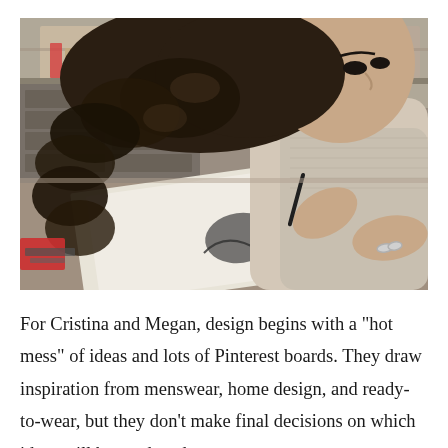[Figure (photo): A woman with curly dark hair sitting at a desk, leaning over a sketchbook and drawing with a pen. She is wearing a light-colored knit top and rings on her fingers. In the background are shelves and art supplies.]
For Cristina and Megan, design begins with a "hot mess" of ideas and lots of Pinterest boards. They draw inspiration from menswear, home design, and ready-to-wear, but they don't make final decisions on which ideas will be produced